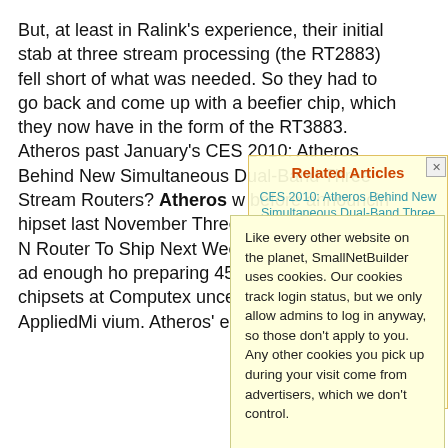But, at least in Ralink's experience, their initial stab at three stream processing (the RT2883) fell short of what was needed. So they had to go back and come up with a beefier chip, which they now have in the form of the RT3883. Atheros past January's CES 2010: Atheros Behind New Simultaneous Dual-Band Three Stream Routers? Atheros was before announcing that it had a chipset last November Three-Stream 450 Mbps N Router To Ship Next Week them enough time to ad enough ho OC is preparing 450 announcing Mbps Draft 802.11n chipsets at Computex uncement touts "rout AppliedMi vium. Atheros' e the absen
[Figure (other): Related Articles panel overlay showing links: CES 2010: Atheros Behind New Simultaneous Dual-Band Three Stream Routers?, Three-Stream 450 Mbps N Router To Ship Next Week, OC is preparing 450 Mbps Draft 802.11n chipsets at Computex, 2010: The Year of HD Streaming Wirelessly? Part 2, Atheros intros low-cost single-stream draft 11n chipset family]
Like every other website on the planet, SmallNetBuilder uses cookies. Our cookies track login status, but we only allow admins to log in anyway, so those don't apply to you. Any other cookies you pick up during your visit come from advertisers, which we don't control.

If you continue to use the site, you agree to tolerate our use of cookies. Thank you!